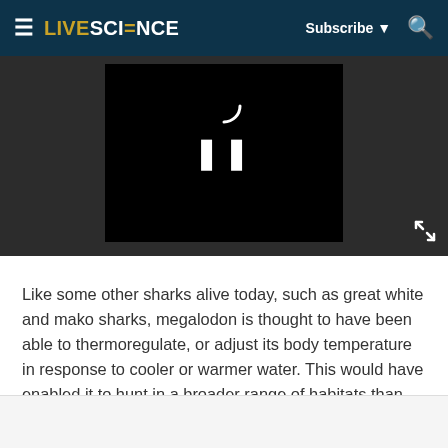LIVESCIENCE — Subscribe — Search
[Figure (screenshot): Video player with black background showing a pause icon (two vertical bars) and a partial spinner arc. The player is embedded in a dark gray area with an expand/fullscreen icon at bottom right.]
Like some other sharks alive today, such as great white and mako sharks, megalodon is thought to have been able to thermoregulate, or adjust its body temperature in response to cooler or warmer water. This would have enabled it to hunt in a broader range of habitats than other sharks, according to research presented today (Dec. 10) at the annual meeting of the American Geophysical Union (AGU).